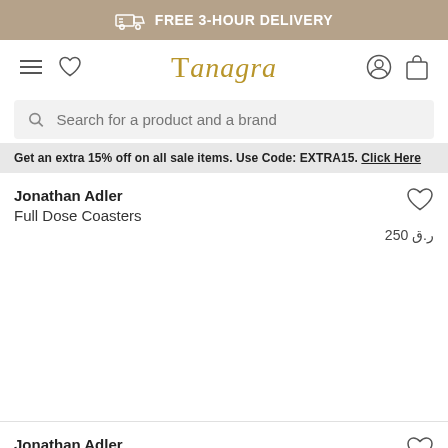FREE 3-HOUR DELIVERY
[Figure (logo): Tanagra brand logo in gold italic serif font, with hamburger menu, heart icon, user icon, and cart icon]
Search for a product and a brand
Get an extra 15% off on all sale items. Use Code: EXTRA15. Click Here
Jonathan Adler
Full Dose Coasters
ر.ق 250
Jonathan Adler
Pompidou Coasters